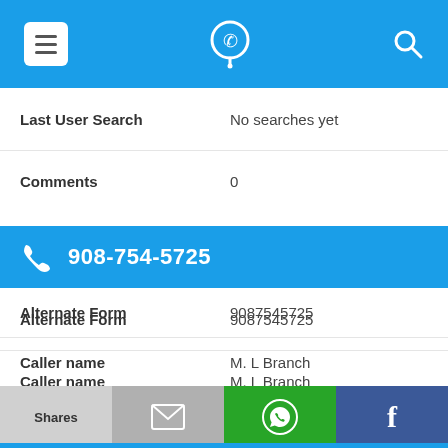[Figure (screenshot): Mobile app top navigation bar with hamburger menu icon (white on blue), phone-with-location-pin icon (white circle outline), and search icon (white magnifying glass) on blue background]
Last User Search    No searches yet
Comments    0
908-754-5725
Alternate Form    9087545725
Caller name    M. L Branch
Last User Search    No searches yet
Comments    0
[Figure (screenshot): Bottom share bar with four buttons: Shares (light gray), email envelope (dark gray), WhatsApp (green with icon), Facebook (dark blue with f)]